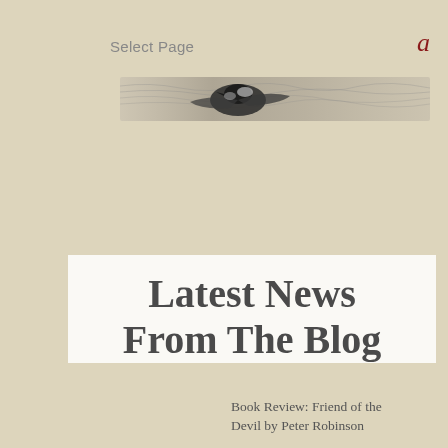Select Page
a
[Figure (illustration): Partial header image showing a stylized bird or animal illustration, black and white sketch style, partially cropped]
Latest News From The Blog
Book Review: Friend of the Devil by Peter Robinson